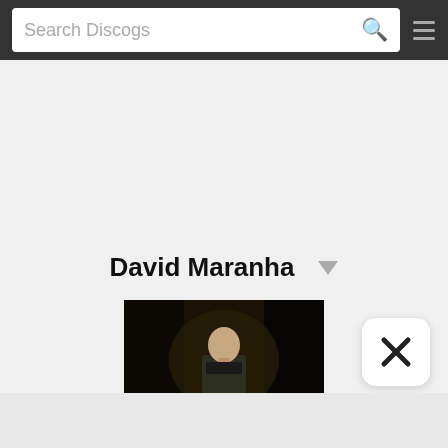Search Discogs
David Maranha
[Figure (photo): Photo of David Maranha, a bald man standing on a dark stage wearing a jacket]
[Figure (other): Close button with X symbol in white rounded rectangle]